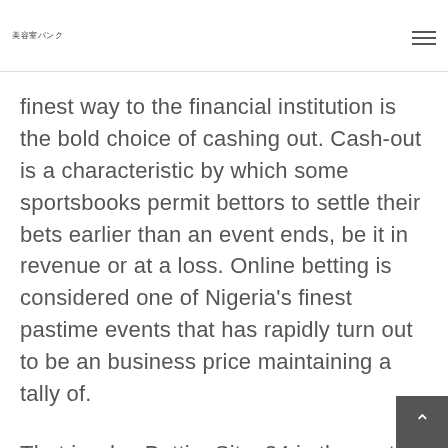美容室バンク
finest way to the financial institution is the bold choice of cashing out. Cash-out is a characteristic by which some sportsbooks permit bettors to settle their bets earlier than an event ends, be it in revenue or at a loss. Online betting is considered one of Nigeria's finest pastime events that has rapidly turn out to be an business price maintaining a tally of.
That is why, BettingSites24 is the go-to and the most complete portal devoted t